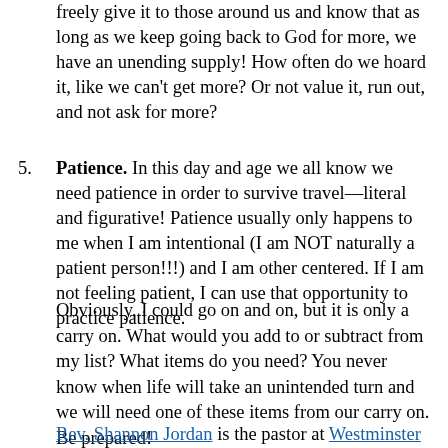freely give it to those around us and know that as long as we keep going back to God for more, we have an unending supply! How often do we hoard it, like we can’t get more? Or not value it, run out, and not ask for more?
5. Patience. In this day and age we all know we need patience in order to survive travel—literal and figurative! Patience usually only happens to me when I am intentional (I am NOT naturally a patient person!!!) and I am other centered. If I am not feeling patient, I can use that opportunity to practice patience.
Obviously, I could go on and on, but it is only a carry on. What would you add to or subtract from my list? What items do you need? You never know when life will take an unintended turn and we will need one of these items from our carry on. Be prepared!
Rev. Shannon Jordan is the pastor at Westminster